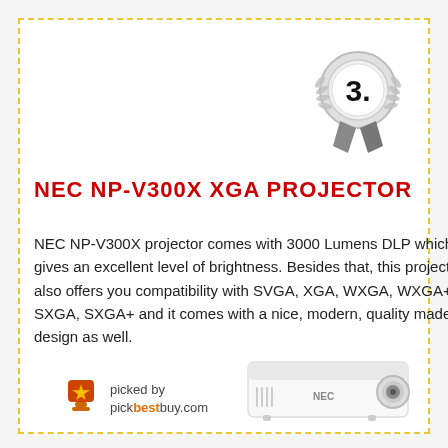[Figure (illustration): Silver/grey award ribbon badge with number 3 in center circle, positioned in top right area]
NEC NP-V300X XGA PROJECTOR
NEC NP-V300X projector comes with 3000 Lumens DLP which gives an excellent level of brightness. Besides that, this projector also offers you compatibility with SVGA, XGA, WXGA, WXGA+, SXGA, SXGA+ and it comes with a nice, modern, quality made design as well.
[Figure (logo): Pickbestbuy.com picked by badge with orange star trophy icon]
[Figure (photo): NEC NP-V300X projector device photo at bottom right]